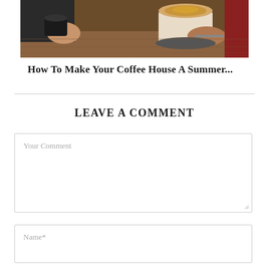[Figure (photo): Hands holding coffee cups, toasting, with a latte and dark coffee visible on a wooden table background]
How To Make Your Coffee House A Summer...
LEAVE A COMMENT
Your Comment
Name*